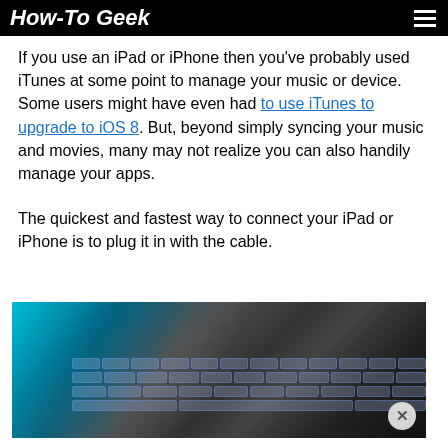How-To Geek
If you use an iPad or iPhone then you've probably used iTunes at some point to manage your music or device. Some users might have even had to use iTunes to upgrade to iOS 8. But, beyond simply syncing your music and movies, many may not realize you can also handily manage your apps.
The quickest and fastest way to connect your iPad or iPhone is to plug it in with the cable.
[Figure (photo): Close-up photo of a laptop with a backlit keyboard and a teal/cyan screen, viewed from an angle. A circular close button (X) is visible in the bottom right corner.]